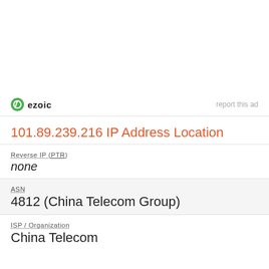[Figure (logo): Ezoic logo with green circular icon and bold 'ezoic' text, with 'report this ad' text on the right]
101.89.239.216 IP Address Location
| Reverse IP (PTR) | none |
| ASN | 4812 (China Telecom Group) |
| ISP / Organization | China Telecom |